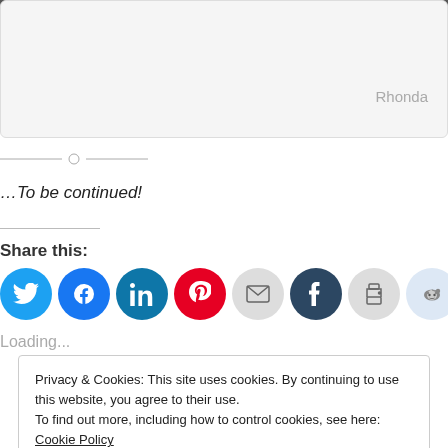[Figure (photo): Dark image at top, partially visible, cut off]
Rhonda
[Figure (illustration): Horizontal divider line with circle in the middle]
…To be continued!
Share this:
[Figure (infographic): Social share icons: Twitter (blue), Facebook (blue), LinkedIn (dark blue), Pinterest (red), Email (grey), Tumblr (dark navy), Print (grey), Reddit (light blue)]
Loading...
Privacy & Cookies: This site uses cookies. By continuing to use this website, you agree to their use.
To find out more, including how to control cookies, see here: Cookie Policy
Close and accept